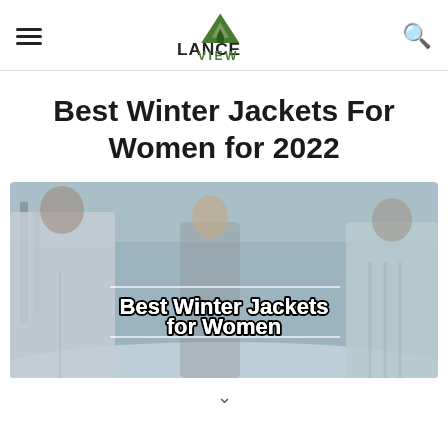Lance View — navigation header with hamburger menu, logo, and search icon
Best Winter Jackets For Women for 2022
[Figure (photo): Hero banner image showing women wearing winter jackets outdoors in a snowy park setting, with overlaid text reading 'Best Winter Jackets for Women' flanked by horizontal white lines]